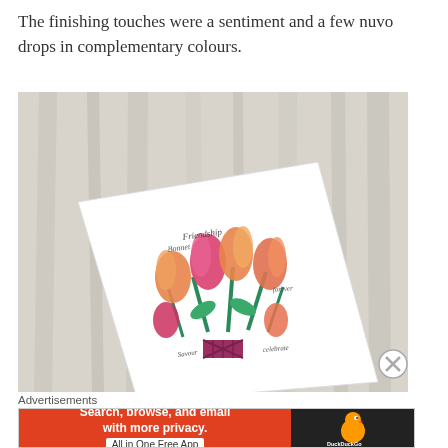The finishing touches were a sentiment and a few nuvo drops in complementary colours.
[Figure (photo): A handmade greeting card with painted tulips in orange, pink and red, with cursive text/sentiment, and a plaid bow, lying on a whitewashed wood background.]
Advertisements
[Figure (screenshot): DuckDuckGo advertisement banner: orange left panel reading 'Search, browse, and email with more privacy. All in One Free App', dark right panel with DuckDuckGo duck logo and text.]